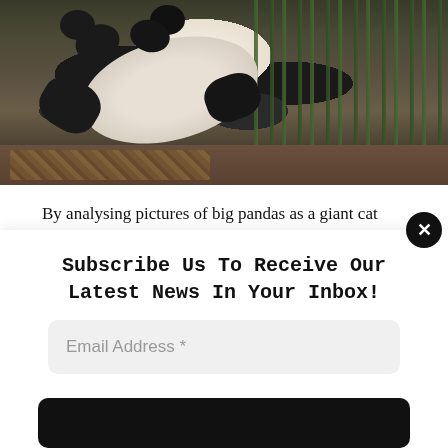[Figure (photo): A giant panda lying on its back on the ground among fallen leaves, with bamboo visible in the background on the right side.]
By analysing pictures of big pandas as a giant cat would see them, biologists have found {that a} black and white coat is nice for hiding in a forest, each in winter and in summer season
Life
Subscribe Us To Receive Our Latest News In Your Inbox!
Email Address *